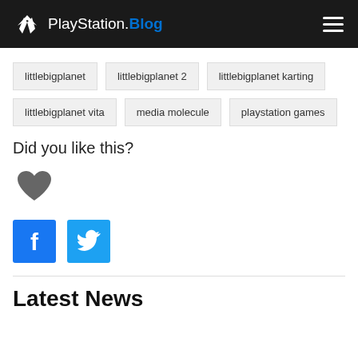PlayStation.Blog
littlebigplanet
littlebigplanet 2
littlebigplanet karting
littlebigplanet vita
media molecule
playstation games
Did you like this?
[Figure (illustration): Gray heart icon for liking content]
[Figure (illustration): Facebook share button (blue square with white F)]
[Figure (illustration): Twitter share button (blue square with white bird)]
Latest News